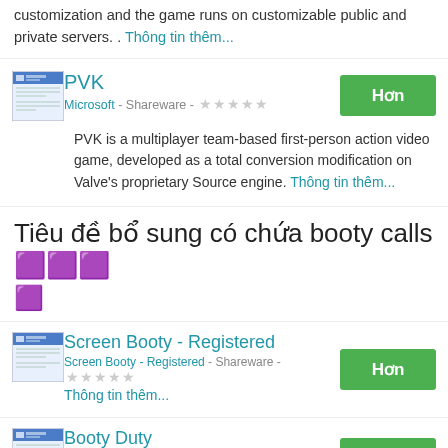customization and the game runs on customizable public and private servers. . Thông tin thêm...
PVK
Microsoft - Shareware -
PVK is a multiplayer team-based first-person action video game, developed as a total conversion modification on Valve's proprietary Source engine. Thông tin thêm...
Tiêu đề bổ sung có chứa booty calls🔲🔲🔲 🔲
Screen Booty - Registered
Screen Booty - Registered - Shareware -
Thông tin thêm...
Booty Duty
Booty Duty - Shareware -
Thông tin thêm...
Screen Booty - Evaluation 1.2